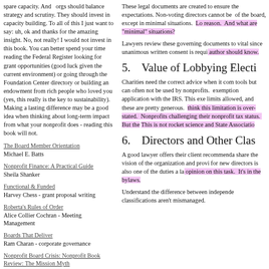spare capacity.  And   orgs should balance strategy and scrutiny.  They should invest in capacity building.  To all of this I just want to say: uh, ok and thanks for the amazing insight.  No, not really!  I would not invest in this book.  You can better spend your time reading the Federal Register looking for grant opportunities (good luck given the current environment) or going through the Foundation Center directory or building an endowment from rich people who loved you (yes, this really is the key to sustainability).  Making a lasting difference may be a good idea when thinking about long-term impact from what your nonprofit does - reading this book will not.
The Board Member Orientation
Michael E. Batts
Nonprofit Finance: A Practical Guide
Sheila Shanker
Functional & Funded
Harvey Chess - grant proposal writing
Roberta's Rules of Order
Alice Collier Cochran - Meeting Management
Boards That Deliver
Ram Charan - corporate governance
Nonprofit Board Crisis: Nonprofit Book Review: The Mission Myth
These legal documents are created to ensure the expectations. Non-voting directors cannot be of the board, except in minimal situations.  [highlighted] reason.  And what are "minimal" situations?
Lawyers review these governing documents to vital since unanimous written consent is requi [highlighted] author should know.
5.      Value of Lobbying Electi
Charities need the correct advice when it com tools but can often not be used by nonprofits. exemption application with the IRS. This exe limits allowed, and these are pretty generous. [highlighted] think this limitation is over-stated.  Nonprofits challenging their nonprofit tax status.  But the This is not rocket science and State Associatio
6.      Directors and Other Clas
A good lawyer offers their client recommenda share the vision of the organization and provi for new directors is also one of the duties a la [highlighted] opinion on this task.  It's in the bylaws.
Understand the difference between independe classifications aren't mismanaged.